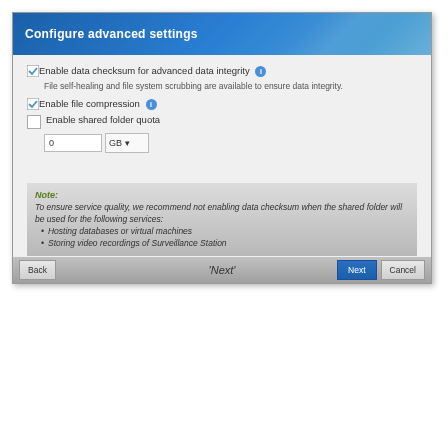Configure advanced settings
Enable data checksum for advanced data integrity
File self-healing and file system scrubbing are available to ensure data integrity.
Enable file compression
Enable shared folder quota
Note: To ensure service quality, we recommend not enabling data checksum when the shared folder will be used for the following services:
Hosting databases or virtual machines
Storing video recordings of Surveillance Station
'Next'